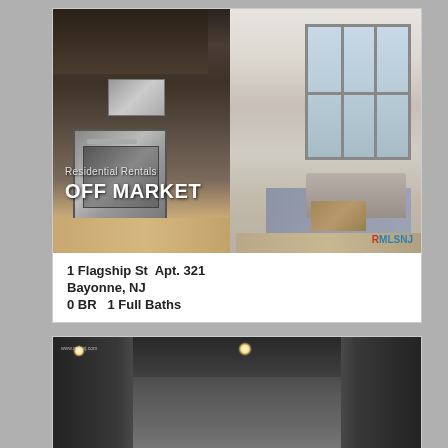[Figure (photo): Interior apartment photo showing modern kitchen with dark cabinets and stainless steel appliances on the left, and open living room with large windows on the right. Text overlay reads 'Residential Rentals' and 'OFF MARKET' with RMLSNJ logo.]
1 Flagship St  Apt. 321
Bayonne, NJ
0 BR   1 Full Baths
[Figure (photo): Interior apartment photo showing a dimly lit room with recessed ceiling lights, dark walls, and light-colored flooring.]